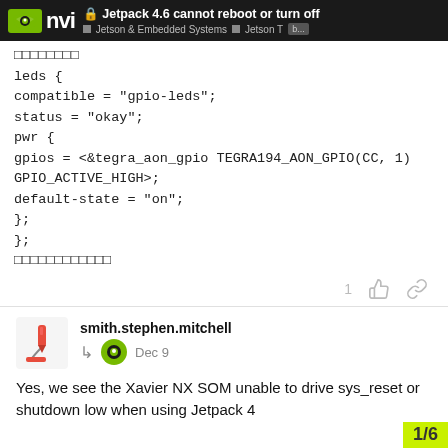Jetpack 4.6 cannot reboot or turn off — Jetson & Embedded Systems / Jetson T
□□□□□□□□
leds {
compatible = "gpio-leds";
status = "okay";
pwr {
gpios = <&tegra_aon_gpio TEGRA194_AON_GPIO(CC, 1) GPIO_ACTIVE_HIGH>;
default-state = "on";
};
};
□□□□□□□□□□□□
smith.stephen.mitchell — Dec 9
Yes, we see the Xavier NX SOM unable to drive sys_reset or shutdown low when using Jetpack 4